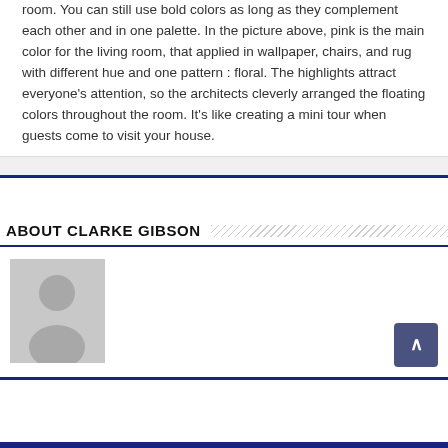room. You can still use bold colors as long as they complement each other and in one palette. In the picture above, pink is the main color for the living room, that applied in wallpaper, chairs, and rug with different hue and one pattern : floral. The highlights attract everyone’s attention, so the architects cleverly arranged the floating colors throughout the room. It’s like creating a mini tour when guests come to visit your house.
ABOUT CLARKE GIBSON
[Figure (photo): Default user avatar placeholder showing a silhouette of a person on a grey background]